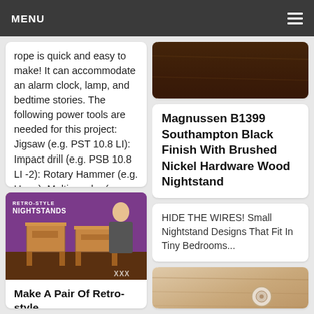MENU
rope is quick and easy to make! It can accommodate an alarm clock, lamp, and bedtime stories. The following power tools are needed for this project: Jigsaw (e.g. PST 10.8 LI): Impact drill (e.g. PSB 10.8 LI -2): Rotary Hammer (e.g. Uneo): Multi sander (e....
[Figure (photo): Retro-style nightstands made of wood, displayed with a person standing behind them on a purple background. Text overlay reads 'RETRO-STYLE NIGHTSTANDS' with 'XXX' watermark.]
Make A Pair Of Retro-style
[Figure (photo): Top portion of a dark wooden furniture piece, partially visible at top of right column.]
Magnussen B1399 Southampton Black Finish With Brushed Nickel Hardware Wood Nightstand
HIDE THE WIRES! Small Nightstand Designs That Fit In Tiny Bedrooms...
[Figure (photo): Close-up of a light wood surface with a circular knob or hardware detail, partially visible at bottom right.]